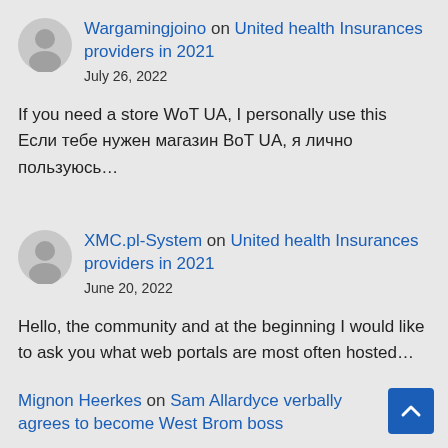Wargamingjoino on United health Insurances providers in 2021
July 26, 2022
If you need a store WoT UA, I personally use this Если тебе нужен магазин BoT UA, я лично пользуюсь…
XMC.pl-System on United health Insurances providers in 2021
June 20, 2022
Hello, the community and at the beginning I would like to ask you what web portals are most often hosted…
Mignon Heerkes on Sam Allardyce verbally agrees to become West Brom boss